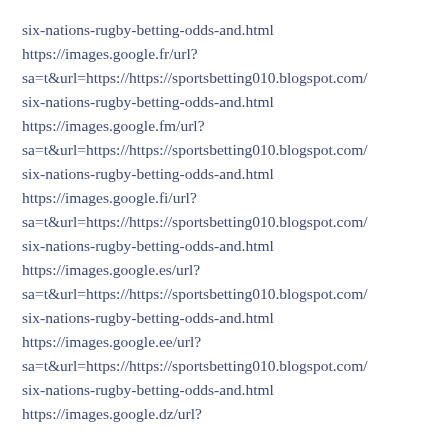six-nations-rugby-betting-odds-and.html
https://images.google.fr/url?sa=t&url=https://https://sportsbetting010.blogspot.com/six-nations-rugby-betting-odds-and.html
https://images.google.fm/url?sa=t&url=https://https://sportsbetting010.blogspot.com/six-nations-rugby-betting-odds-and.html
https://images.google.fi/url?sa=t&url=https://https://sportsbetting010.blogspot.com/six-nations-rugby-betting-odds-and.html
https://images.google.es/url?sa=t&url=https://https://sportsbetting010.blogspot.com/six-nations-rugby-betting-odds-and.html
https://images.google.ee/url?sa=t&url=https://https://sportsbetting010.blogspot.com/six-nations-rugby-betting-odds-and.html
https://images.google.dz/url?